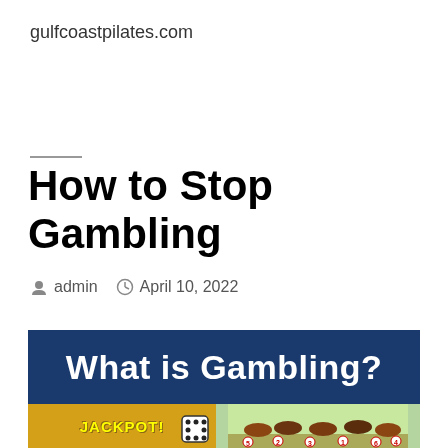gulfcoastpilates.com
How to Stop Gambling
admin   April 10, 2022
[Figure (illustration): Banner image with dark blue background reading 'What is Gambling?' in large white bold text, below which is a cartoon strip showing jackpot/slots imagery on the left and a horse racing scene on the right.]